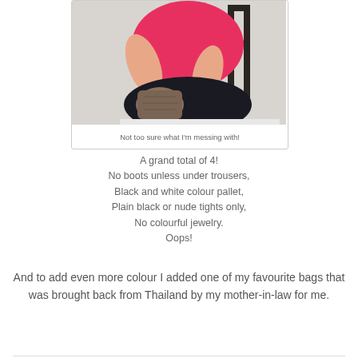[Figure (photo): A person wearing a pink top and black skirt sitting on a chair, holding a bag in their lap]
Not too sure what I'm messing with!
A grand total of 4!
No boots unless under trousers,
Black and white colour pallet,
Plain black or nude tights only,
No colourful jewelry.
Oops!
And to add even more colour I added one of my favourite bags that was brought back from Thailand by my mother-in-law for me.